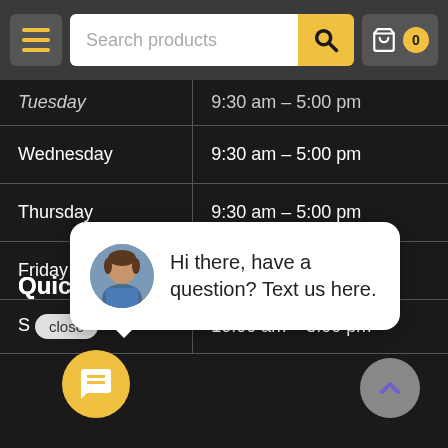Search products | 0
| Day | Hours |
| --- | --- |
| Tuesday | 9:30 am – 5:00 pm |
| Wednesday | 9:30 am – 5:00 pm |
| Thursday | 9:30 am – 5:00 pm |
| Friday | 9:30 am – 5:00 pm |
| S[close] | 10:00 am – 3:00 pm |
Cl
[Figure (photo): Chat popup with avatar of a man and text: Hi there, have a question? Text us here.]
Quick Links